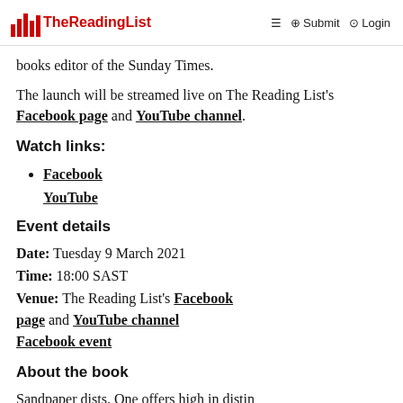TheReadingList | ≡ ⊕ Submit ⊙ Login
books editor of the Sunday Times.
The launch will be streamed live on The Reading List's Facebook page and YouTube channel.
Watch links:
Facebook
YouTube
Event details
Date: Tuesday 9 March 2021
Time: 18:00 SAST
Venue: The Reading List's Facebook page and YouTube channel Facebook event
About the book
Sandpiper dicts. One offers high in distin...